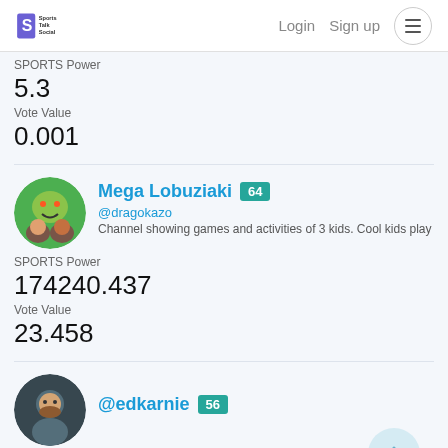Sports Talk Social — Login  Sign up
SPORTS Power
5.3
Vote Value
0.001
Mega Lobuziaki  64  @dragokazo  Channel showing games and activities of 3 kids. Cool kids play
SPORTS Power
174240.437
Vote Value
23.458
@edkarnie  56
SPORTS Power
109404379.845